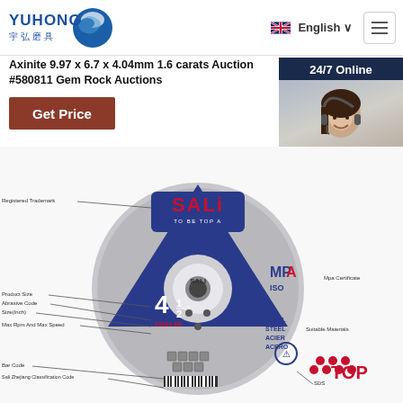[Figure (logo): Yuhong abrasives logo with blue wave icon and Chinese characters 宇弘磨具]
English ∨
Axinite 9.97 x 6.7 x 4.04mm 1.6 carats Auction #580811 Gem Rock Auctions
Get Price
24/7 Online
[Figure (photo): Customer service representative wearing headset smiling]
Click here for free chat !
QUOTATION
[Figure (photo): SALI abrasive grinding disc/wheel product with labeled diagram showing: Registered Trademark, Product Size, Abrasive Code, Size(Inch), Max Rpm And Max Speed, Bar Code, Sali Zhejiang Classification Code, Mpa Certificate, Suitable Materials, SDS, and TOP logo]